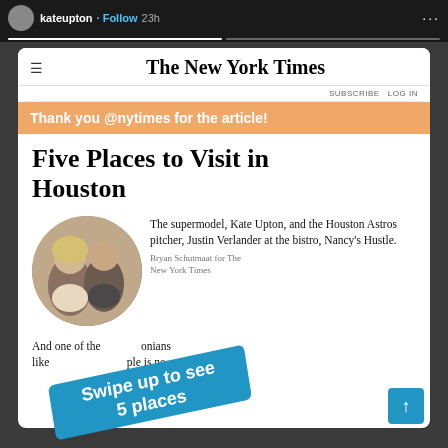kateupton · Follow  23h
[Figure (screenshot): Screenshot of New York Times article page showing 'Five Places to Visit in Houston' with a circular photo of Kate Upton and Justin Verlander]
Thank you @nytimes for the article!
Five Places to Visit in Houston
The supermodel, Kate Upton, and the Houston Astros pitcher, Justin Verlander at the bistro, Nancy's Hustle.
Bryan Schutmaat for The New York Times
And one of the Houstonians like … ple is no
Swipe up to see 5 places